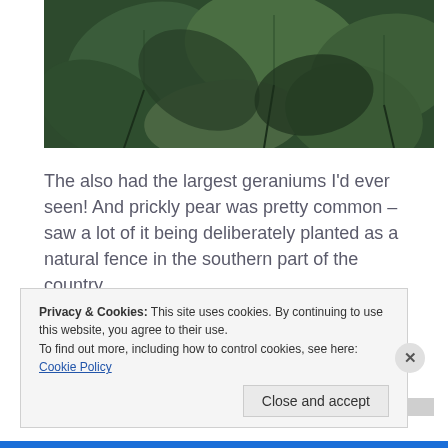[Figure (photo): Close-up photograph of large dark green leaves, possibly rose or similar shrub foliage]
The also had the largest geraniums I’d ever seen!  And prickly pear was pretty common – saw a lot of it being deliberately planted as a natural fence in the southern part of the country.
Privacy & Cookies: This site uses cookies. By continuing to use this website, you agree to their use.
To find out more, including how to control cookies, see here: Cookie Policy
Close and accept